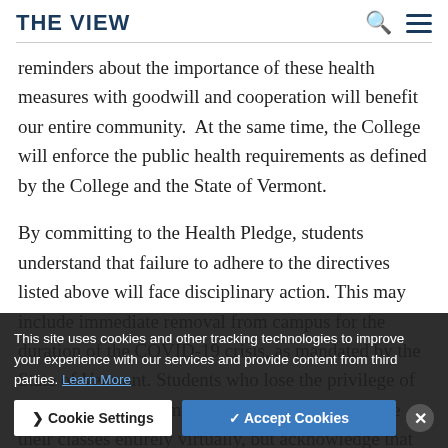THE VIEW
reminders about the importance of these health measures with goodwill and cooperation will benefit our entire community.  At the same time, the College will enforce the public health requirements as defined by the College and the State of Vermont.
By committing to the Health Pledge, students understand that failure to adhere to the directives listed above will face disciplinary action. This may include immediate removal from campus for the duration of the COVID-19 crisis, as mandated by the State of Vermont. Students who lose the privilege of being part of our campus community can continue their classes entirely virtually, but acknowledge that disciplinary action may include being removed from campus.
This site uses cookies and other tracking technologies to improve your experience with our services and provide content from third parties. Learn More